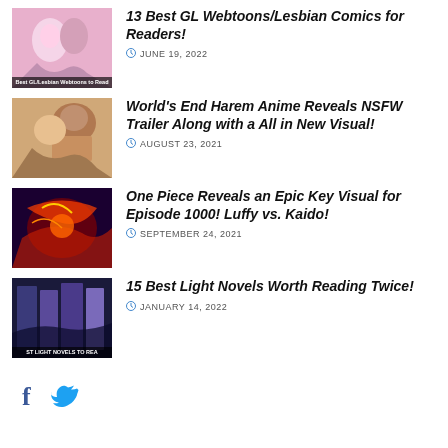13 Best GL Webtoons/Lesbian Comics for Readers!
JUNE 19, 2022
World's End Harem Anime Reveals NSFW Trailer Along with a All in New Visual!
AUGUST 23, 2021
One Piece Reveals an Epic Key Visual for Episode 1000! Luffy vs. Kaido!
SEPTEMBER 24, 2021
15 Best Light Novels Worth Reading Twice!
JANUARY 14, 2022
[Figure (illustration): Social media icons: Facebook (f) and Twitter bird icon]